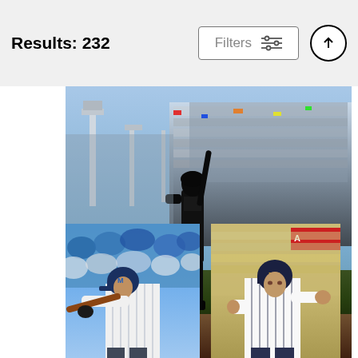Results: 232
Filters
[Figure (photo): Baseball player #4 Yadier Molina standing at bat on field with crowded stadium stands in background, silhouetted against bright sky]
Yadier Molina
Joe Robbins
$9.62
[Figure (photo): Baseball player in white uniform swinging bat, crowd visible in background]
[Figure (photo): Baseball player in New York Yankees pinstripe uniform running bases]